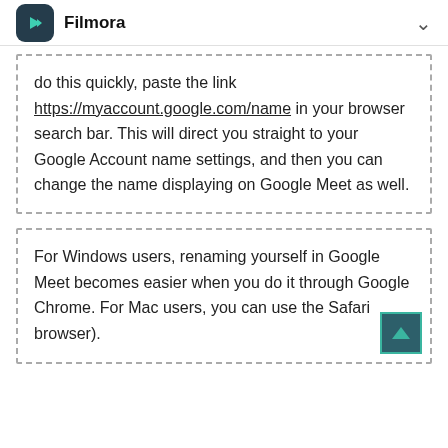Filmora
do this quickly, paste the link https://myaccount.google.com/name in your browser search bar. This will direct you straight to your Google Account name settings, and then you can change the name displaying on Google Meet as well.
For Windows users, renaming yourself in Google Meet becomes easier when you do it through Google Chrome. For Mac users, you can use the Safari browser).